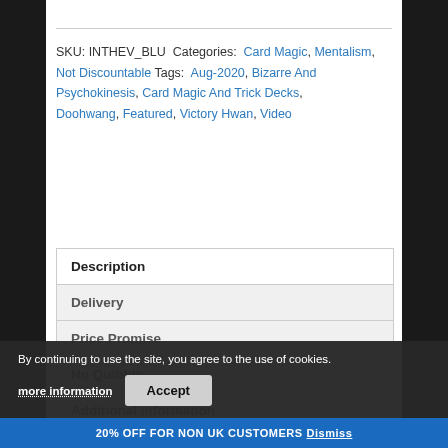SKU: INTHEV_BLU Categories: Card Magic, Mentalism, Not Discountable Tags: Aug-2020, Bizarre And Psychokinesis, Card Magic And Trick Decks, Doohwang, Featured, Victory Hwan, Video
| Description |
| Delivery |
| Price Promise |
| No Quibble |
| Additional information |
| Reviews (0) |
By continuing to use the site, you agree to the use of cookies. more information Accept
20% OFF FOR NON UK CUSTOMERS Dismiss